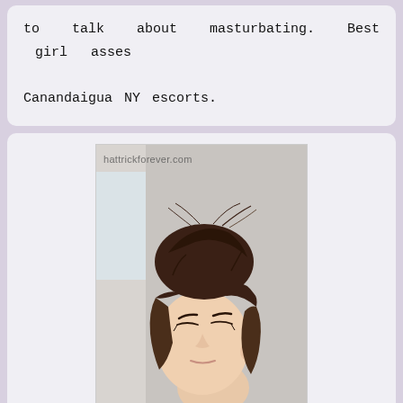to talk about masturbating. Best girl asses Canandaigua NY escorts.
[Figure (photo): Photo of a young woman with dark brown hair styled in an updo bun with bangs, looking downward. Watermark text 'hattrickforever.com' visible in upper left of image.]